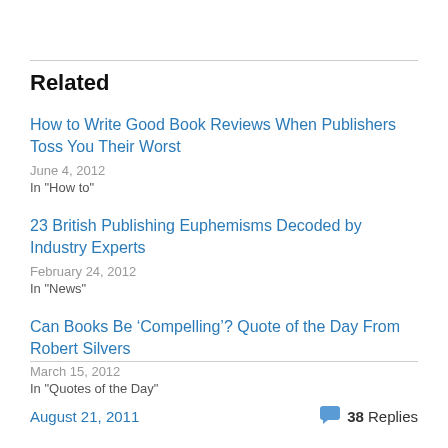Related
How to Write Good Book Reviews When Publishers Toss You Their Worst
June 4, 2012
In "How to"
23 British Publishing Euphemisms Decoded by Industry Experts
February 24, 2012
In "News"
Can Books Be ‘Compelling’? Quote of the Day From Robert Silvers
March 15, 2012
In "Quotes of the Day"
August 21, 2011
38 Replies